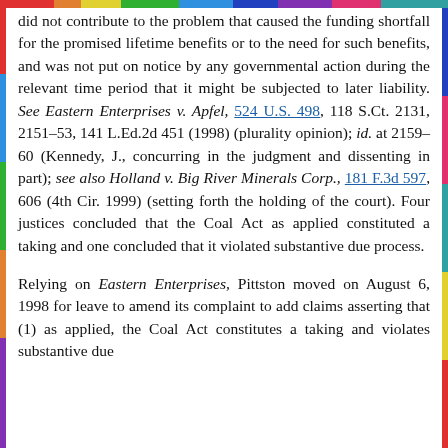did not contribute to the problem that caused the funding shortfall for the promised lifetime benefits or to the need for such benefits, and was not put on notice by any governmental action during the relevant time period that it might be subjected to later liability. See Eastern Enterprises v. Apfel, 524 U.S. 498, 118 S.Ct. 2131, 2151–53, 141 L.Ed.2d 451 (1998) (plurality opinion); id. at 2159–60 (Kennedy, J., concurring in the judgment and dissenting in part); see also Holland v. Big River Minerals Corp., 181 F.3d 597, 606 (4th Cir. 1999) (setting forth the holding of the court). Four justices concluded that the Coal Act as applied constituted a taking and one concluded that it violated substantive due process.
Relying on Eastern Enterprises, Pittston moved on August 6, 1998 for leave to amend its complaint to add claims asserting that (1) as applied, the Coal Act constitutes a taking and violates substantive due